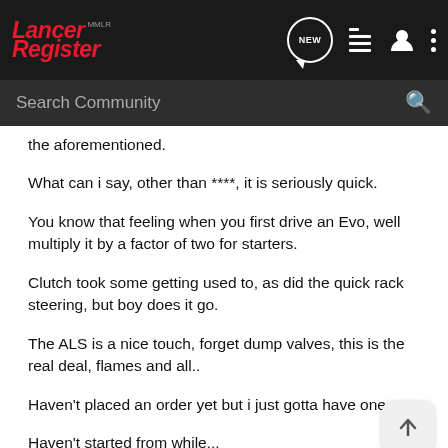Lancer Register MLR — NEW
the aforementioned.
What can i say, other than ****, it is seriously quick.
You know that feeling when you first drive an Evo, well multiply it by a factor of two for starters.
Clutch took some getting used to, as did the quick rack steering, but boy does it go.
The ALS is a nice touch, forget dump valves, this is the real deal, flames and all..
Haven't placed an order yet but i just gotta have one.
Haven't started from while...